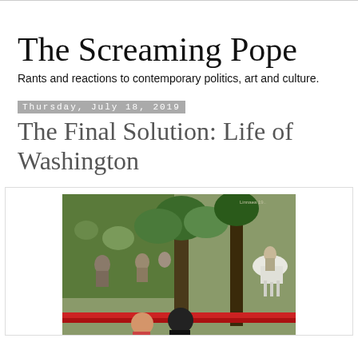The Screaming Pope
Rants and reactions to contemporary politics, art and culture.
Thursday, July 18, 2019
The Final Solution: Life of Washington
[Figure (photo): A large mural depicting scenes from the life of Washington, showing historical figures, horses, trees, and a man on a white horse, with students visible in the foreground below.]